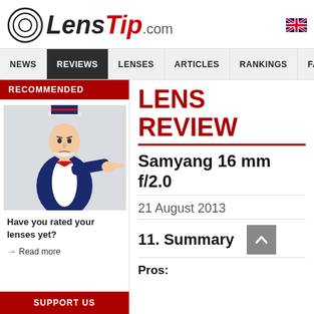LensTip.com
NEWS | REVIEWS | LENSES | ARTICLES | RANKINGS | FAQ
RECOMMENDED
[Figure (illustration): Uncle Sam pointing finger illustration]
Have you rated your lenses yet?
→ Read more
LENS REVIEW
Samyang 16 mm f/2.0
21 August 2013
11. Summary
Pros:
SUPPORT US